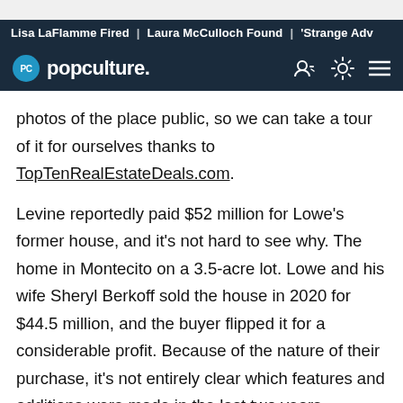Lisa LaFlamme Fired | Laura McCulloch Found | 'Strange Adv
[Figure (logo): Popculture.com logo with navigation icons on dark navy background]
photos of the place public, so we can take a tour of it for ourselves thanks to TopTenRealEstateDeals.com.
Levine reportedly paid $52 million for Lowe's former house, and it's not hard to see why. The home in Montecito on a 3.5-acre lot. Lowe and his wife Sheryl Berkoff sold the house in 2020 for $44.5 million, and the buyer flipped it for a considerable profit. Because of the nature of their purchase, it's not entirely clear which features and additions were made in the last two years. Regardless, it's a neat combination of two stars sharing one space.